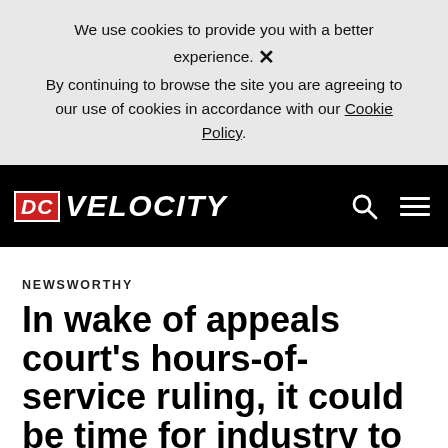We use cookies to provide you with a better experience. ✕ By continuing to browse the site you are agreeing to our use of cookies in accordance with our Cookie Policy.
[Figure (logo): DC Velocity logo — red box with 'DC' in white italic bold text, followed by 'VELOCITY' in white italic bold text, on a black navigation bar]
NEWSWORTHY
In wake of appeals court's hours-of-service ruling, it could be time for industry to head on down the road